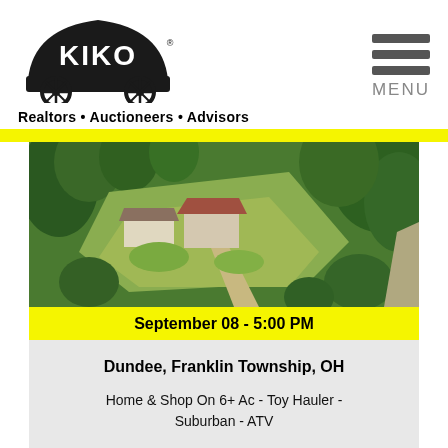[Figure (logo): KIKO logo with covered wagon icon]
Realtors • Auctioneers • Advisors
[Figure (photo): Aerial view of a home and shop property on 6+ acres, surrounded by trees and open grass, with a gravel driveway]
September 08 - 5:00 PM
Dundee, Franklin Township, OH
Home & Shop On 6+ Ac - Toy Hauler - Suburban - ATV
VIEW DETAILS